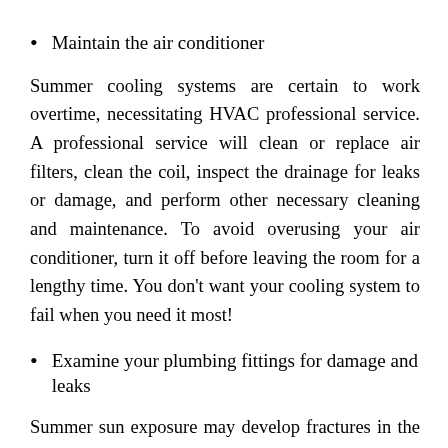Maintain the air conditioner
Summer cooling systems are certain to work overtime, necessitating HVAC professional service. A professional service will clean or replace air filters, clean the coil, inspect the drainage for leaks or damage, and perform other necessary cleaning and maintenance. To avoid overusing your air conditioner, turn it off before leaving the room for a lengthy time. You don't want your cooling system to fail when you need it most!
Examine your plumbing fittings for damage and leaks
Summer sun exposure may develop fractures in the material of your outdoor pipes. So, examine your outside and interior